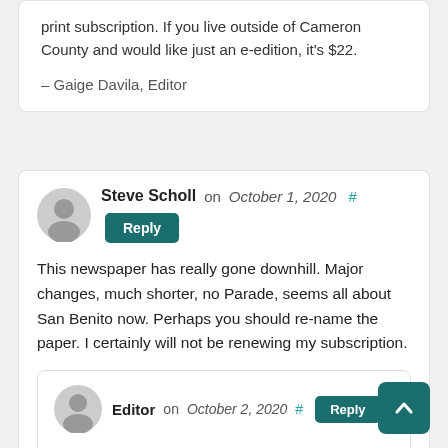print subscription. If you live outside of Cameron County and would like just an e-edition, it's $22.
– Gaige Davila, Editor
Steve Scholl on October 1, 2020  #  Reply
This newspaper has really gone downhill. Major changes, much shorter, no Parade, seems all about San Benito now. Perhaps you should re-name the paper. I certainly will not be renewing my subscription.
Editor on October 2, 2020  #  Reply
Hi, Steve.
We share the frustrations of not being able to deliver the